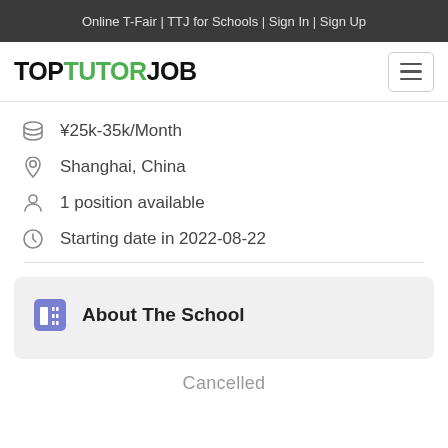Online T-Fair | TTJ for Schools | Sign In | Sign Up
[Figure (logo): TopTutorJob logo with green TUTOR text and hamburger menu button]
¥25k-35k/Month
Shanghai, China
1 position available
Starting date in 2022-08-22
About The School
Cancelled